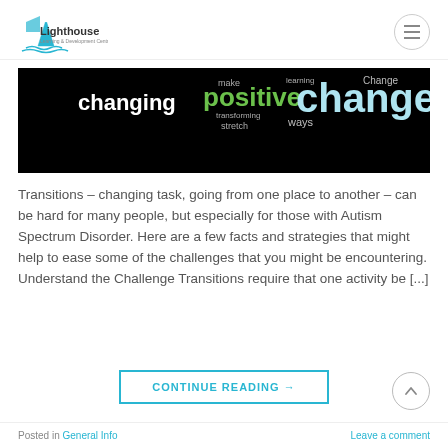Lighthouse Learning & Development Centre
[Figure (illustration): Black background word cloud banner with words: changing (white bold), positive (green bold), changes (light blue large bold), make, learning, Change, transforming, stretch, ways]
Transitions – changing task, going from one place to another – can be hard for many people, but especially for those with Autism Spectrum Disorder. Here are a few facts and strategies that might help to ease some of the challenges that you might be encountering. Understand the Challenge Transitions require that one activity be [...]
CONTINUE READING →
Posted in General Info    Leave a comment